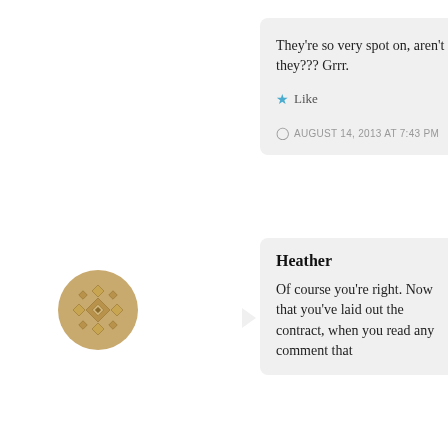They're so very spot on, aren't they??? Grrr.
Like
AUGUST 14, 2013 AT 7:43 PM
[Figure (logo): Golden decorative avatar icon with geometric pattern]
Heather
Of course you're right. Now that you've laid out the contract, when you read any comment that